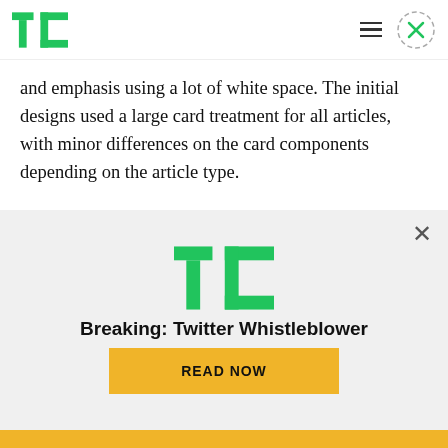TechCrunch logo, hamburger menu, close button
and emphasis using a lot of white space. The initial designs used a large card treatment for all articles, with minor differences on the card components depending on the article type.
Ultimately, this design didn’t test well as it felt too uniform and needed to be “texturized.” We then opted for a solution that displays card variations
[Figure (logo): TechCrunch TC logo in green, advertisement overlay with Breaking: Twitter Whistleblower headline and yellow READ NOW button]
Breaking: Twitter Whistleblower